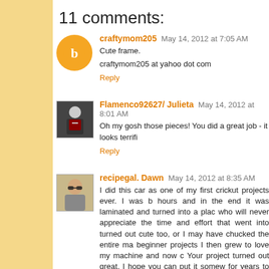11 comments:
craftymom205  May 14, 2012 at 7:05 AM
Cute frame.
craftymom205 at yahoo dot com
Reply
Flamenco92627/ Julieta  May 14, 2012 at 8:01 AM
Oh my gosh those pieces! You did a great job - it looks terrifi
Reply
recipegal. Dawn  May 14, 2012 at 8:35 AM
I did this car as one of my first crickut projects ever. I was b hours and in the end it was laminated and turned into a plac who will never appreciate the time and effort that went into turned out cute too, or I may have chucked the entire ma beginner projects I then grew to love my machine and now c Your project turned out great. I hope you can put it somew for years to come.